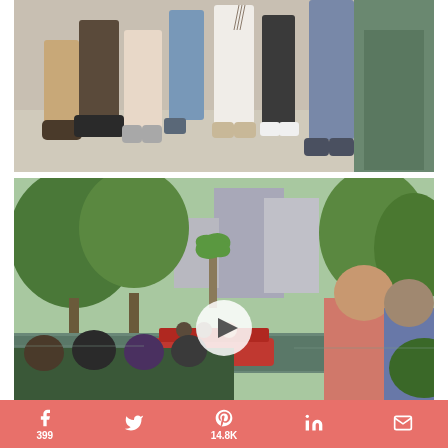[Figure (photo): Group photo showing lower bodies/legs of multiple people standing together, various shoes and clothing visible, stone/concrete background with water feature on right]
[Figure (photo): San Antonio River Walk scene with lush green trees, a red river barge on the canal, city buildings in background, two men watching from right side, play button overlay indicating video]
399
14.8K